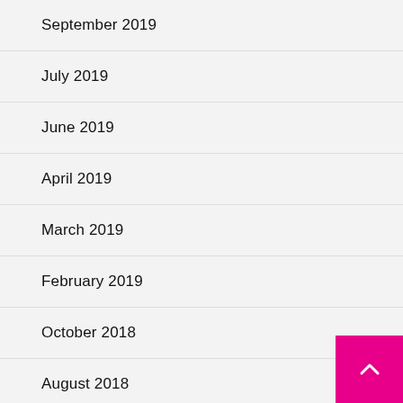September 2019
July 2019
June 2019
April 2019
March 2019
February 2019
October 2018
August 2018
July 2018
June 2018